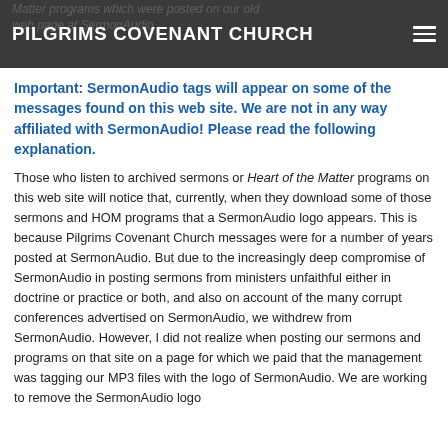PILGRIMS COVENANT CHURCH
Important: SermonAudio tags will appear on some of the messages found on this web site. We are not in any way affiliated with SermonAudio! Please read the following explanation.
Those who listen to archived sermons or Heart of the Matter programs on this web site will notice that, currently, when they download some of those sermons and HOM programs that a SermonAudio logo appears. This is because Pilgrims Covenant Church messages were for a number of years posted at SermonAudio. But due to the increasingly deep compromise of SermonAudio in posting sermons from ministers unfaithful either in doctrine or practice or both, and also on account of the many corrupt conferences advertised on SermonAudio, we withdrew from SermonAudio. However, I did not realize when posting our sermons and programs on that site on a page for which we paid that the management was tagging our MP3 files with the logo of SermonAudio. We are working to remove the SermonAudio logo